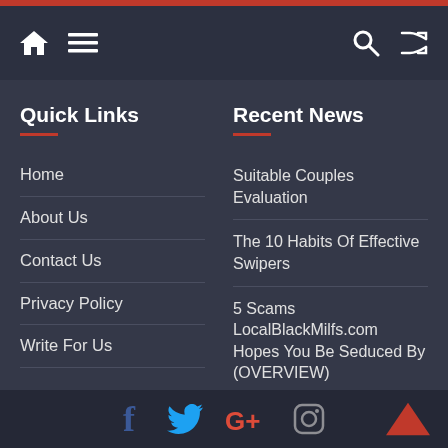Navigation bar with home, menu, search, shuffle icons
Quick Links
Home
About Us
Contact Us
Privacy Policy
Write For Us
Recent News
Suitable Couples Evaluation
The 10 Habits Of Effective Swipers
5 Scams LocalBlackMilfs.com Hopes You Be Seduced By (OVERVIEW)
Social icons: Facebook, Twitter, Google+, Instagram. Back to top arrow.